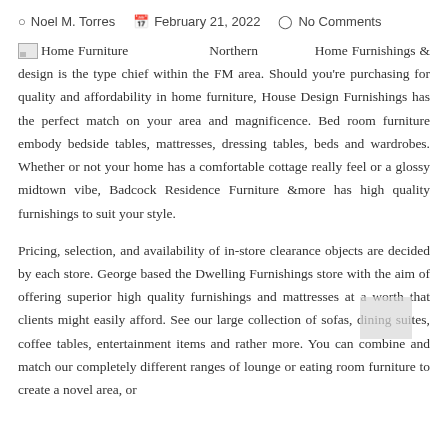Noel M. Torres   February 21, 2022   No Comments
Home Furniture Northern Home Furnishings & design is the type chief within the FM area. Should you're purchasing for quality and affordability in home furniture, House Design Furnishings has the perfect match on your area and magnificence. Bed room furniture embody bedside tables, mattresses, dressing tables, beds and wardrobes. Whether or not your home has a comfortable cottage really feel or a glossy midtown vibe, Badcock Residence Furniture &more has high quality furnishings to suit your style.
Pricing, selection, and availability of in-store clearance objects are decided by each store. George based the Dwelling Furnishings store with the aim of offering superior high quality furnishings and mattresses at a worth that clients might easily afford. See our large collection of sofas, dining suites, coffee tables, entertainment items and rather more. You can combine and match our completely different ranges of lounge or eating room furniture to create a novel area, or